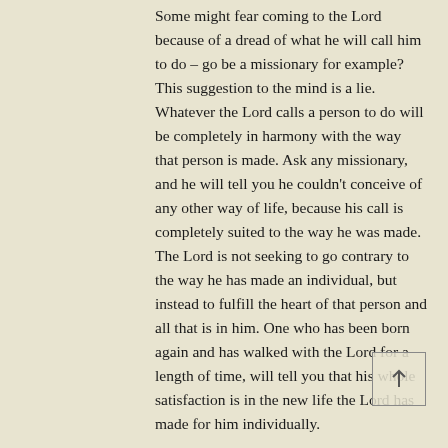Some might fear coming to the Lord because of a dread of what he will call him to do – go be a missionary for example? This suggestion to the mind is a lie. Whatever the Lord calls a person to do will be completely in harmony with the way that person is made. Ask any missionary, and he will tell you he couldn't conceive of any other way of life, because his call is completely suited to the way he was made. The Lord is not seeking to go contrary to the way he has made an individual, but instead to fulfill the heart of that person and all that is in him. One who has been born again and has walked with the Lord for a length of time, will tell you that his whole satisfaction is in the new life the Lord has made for him individually.